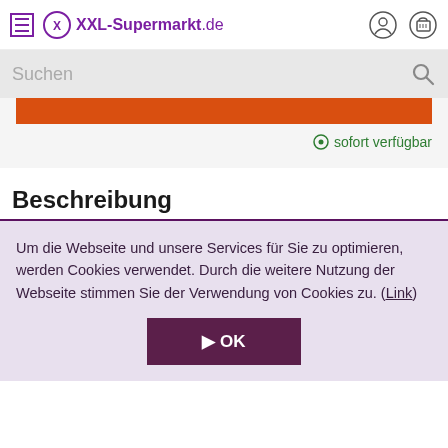XXL-Supermarkt.de
Suchen
[Figure (other): Orange promotional banner bar]
sofort verfügbar
Beschreibung
Um die Webseite und unsere Services für Sie zu optimieren, werden Cookies verwendet. Durch die weitere Nutzung der Webseite stimmen Sie der Verwendung von Cookies zu. (Link)
▶ OK